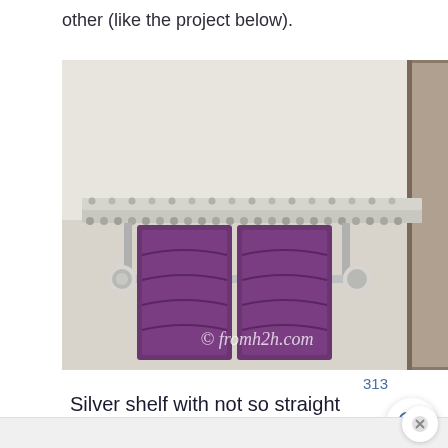other (like the project below).
[Figure (photo): A silver decorative shelf with nail head trim mounted above a towel bar holding two purple/plum towels in a bathroom. A framed mirror is partially visible on the right. Watermark reads '© fromh2h.com'.]
313
Silver shelf with not so straight nail head trim